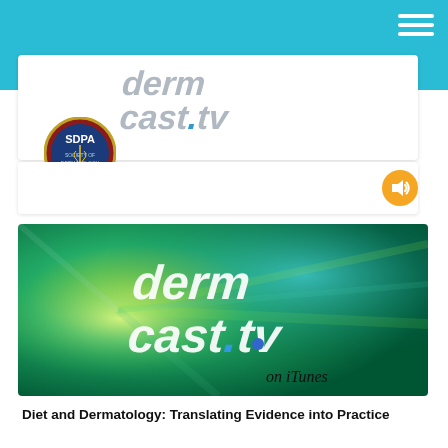[Figure (logo): SDPA circle badge logo and dermcast.tv stylized 3D text logo in header bar]
NOVEMBER 11, 2020
[Figure (screenshot): dermcast.tv logo on green/teal radial blur background with text 'on iTunes']
Diet and Dermatology: Translating Evidence into Practice